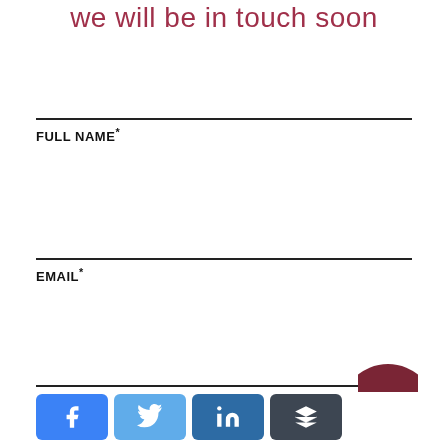we will be in touch soon
FULL NAME*
EMAIL*
PHONE*
[Figure (infographic): Social share buttons: Facebook, Twitter, LinkedIn, Buffer]